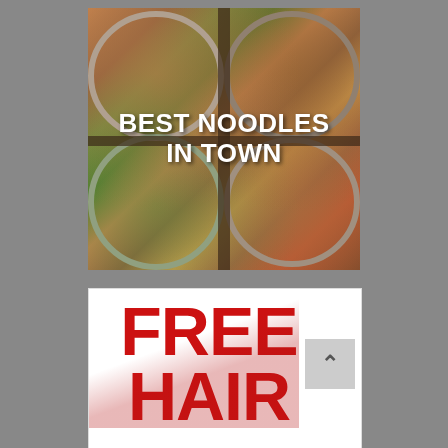[Figure (photo): Four bowls of noodle dishes arranged in a 2x2 grid, photographed from above on a dark wooden surface. Bold white text overlay reads 'BEST NOODLES IN TOWN'.]
[Figure (photo): Partially visible promotional image with large bold red text reading 'FREE HAIR' on a white background, with a red decorative element in the middle. A gray scroll-to-top button with an upward caret is visible in the lower right.]